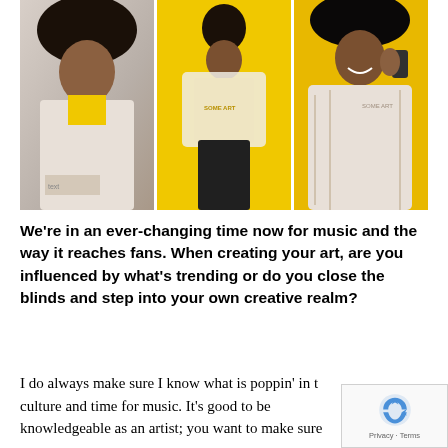[Figure (photo): Three-panel fashion photo of women wearing yellow and white/cream athletic/streetwear outfits against a yellow background. Left panel shows a woman with curly hair in a cream jacket. Center panel shows a woman in a yellow sweatshirt and black pants. Right panel shows a woman in a cream patterned jacket.]
We're in an ever-changing time now for music and the way it reaches fans. When creating your art, are you influenced by what's trending or do you close the blinds and step into your own creative realm?
I do always make sure I know what is poppin' in the culture and time for music. It's good to be knowledgeable as an artist; you want to make sure